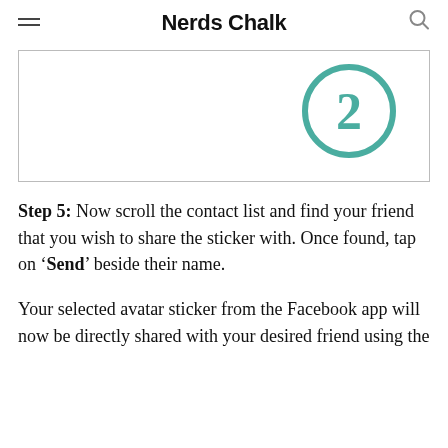Nerds Chalk
[Figure (screenshot): Screenshot showing a step illustration with a teal circled number 2 in the upper right area of a bordered box]
Step 5: Now scroll the contact list and find your friend that you wish to share the sticker with. Once found, tap on 'Send' beside their name.
Your selected avatar sticker from the Facebook app will now be directly shared with your desired friend using the